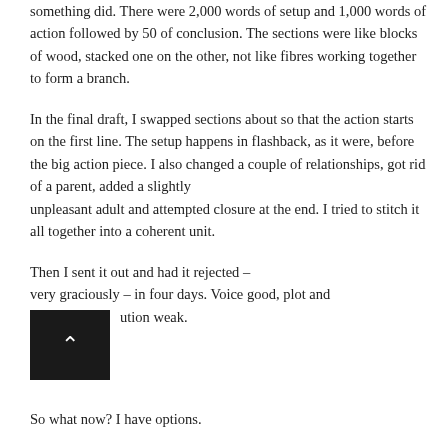something did. There were 2,000 words of setup and 1,000 words of action followed by 50 of conclusion. The sections were like blocks of wood, stacked one on the other, not like fibres working together to form a branch.
In the final draft, I swapped sections about so that the action starts on the first line. The setup happens in flashback, as it were, before the big action piece. I also changed a couple of relationships, got rid of a parent, added a slightly unpleasant adult and attempted closure at the end. I tried to stitch it all together into a coherent unit.
Then I sent it out and had it rejected – very graciously – in four days. Voice good, plot and ution weak.
So what now? I have options.
1. Send the short story to a flash fiction market.
2. Send the long story out again, to another